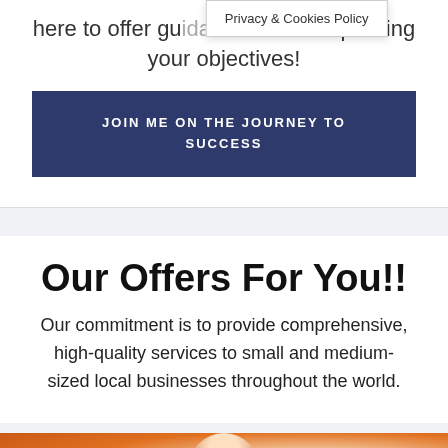here to offer guidance in accomplishing your objectives!
[Figure (screenshot): Privacy & Cookies Policy tooltip/popup overlay]
JOIN ME ON THE JOURNEY TO SUCCESS
Our Offers For You!!
Our commitment is to provide comprehensive, high-quality services to small and medium-sized local businesses throughout the world.
[Figure (photo): Partial photo of a person against an orange background, visible from shoulders up]